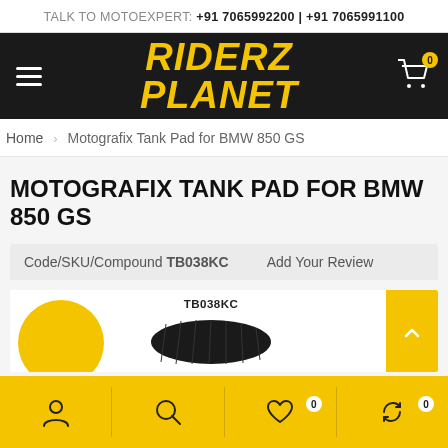TALK TO MOTOEXPERT: +91 7065992200 | +91 7065991100
[Figure (logo): Riderz Planet logo in yellow italic bold text on black background with hamburger menu icon and cart icon]
Home > Motografix Tank Pad for BMW 850 GS
MOTOGRAFIX TANK PAD FOR BMW 850 GS
Code/SKU/Compound TB038KC   Add Your Review
[Figure (photo): Product image area showing partial yellow circle and TB038KC tank pad product on white background with yellow arrow button on right]